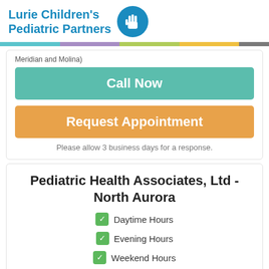[Figure (logo): Lurie Children's Pediatric Partners logo with hand icon in blue circle]
Meridian and Molina)
Call Now
Request Appointment
Please allow 3 business days for a response.
Pediatric Health Associates, Ltd - North Aurora
Daytime Hours
Evening Hours
Weekend Hours
Telehealth Available (Audio & Visual)